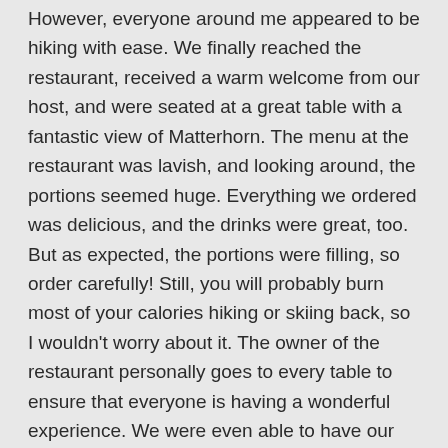However, everyone around me appeared to be hiking with ease. We finally reached the restaurant, received a warm welcome from our host, and were seated at a great table with a fantastic view of Matterhorn. The menu at the restaurant was lavish, and looking around, the portions seemed huge. Everything we ordered was delicious, and the drinks were great, too. But as expected, the portions were filling, so order carefully! Still, you will probably burn most of your calories hiking or skiing back, so I wouldn't worry about it. The owner of the restaurant personally goes to every table to ensure that everyone is having a wonderful experience. We were even able to have our photos taken with the owner.
One of the days during our stay, we decided to try the Bergrestaurant Blatten. To get there, we took